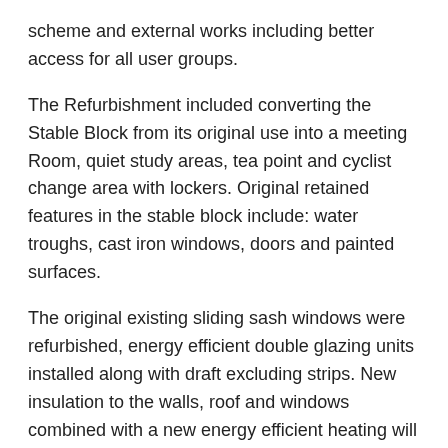scheme and external works including better access for all user groups.
The Refurbishment included converting the Stable Block from its original use into a meeting Room, quiet study areas, tea point and cyclist change area with lockers. Original retained features in the stable block include: water troughs, cast iron windows, doors and painted surfaces.
The original existing sliding sash windows were refurbished, energy efficient double glazing units installed along with draft excluding strips. New insulation to the walls, roof and windows combined with a new energy efficient heating will improve the efficiency of the building reducing energy costs along with a more comfortable environment for the Library users.